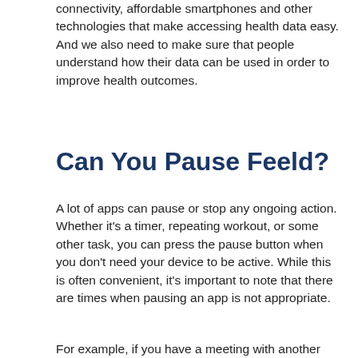connectivity, affordable smartphones and other technologies that make accessing health data easy.
And we also need to make sure that people understand how their data can be used in order to improve health outcomes.
Can You Pause Feeld?
A lot of apps can pause or stop any ongoing action. Whether it’s a timer, repeating workout, or some other task, you can press the pause button when you don’t need your device to be active. While this is often convenient, it’s important to note that there are times when pausing an app is not appropriate.
For example, if you have a meeting with another